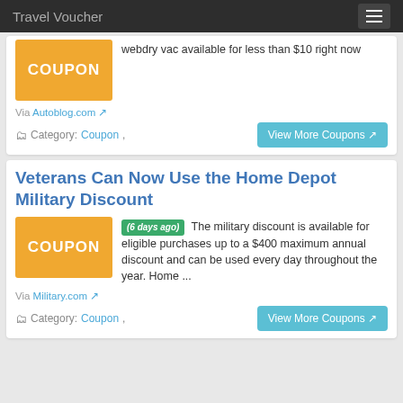Travel Voucher
webdry vac available for less than $10 right now
Via Autoblog.com
Category: Coupon,
View More Coupons
Veterans Can Now Use the Home Depot Military Discount
(6 days ago) The military discount is available for eligible purchases up to a $400 maximum annual discount and can be used every day throughout the year. Home ...
Via Military.com
Category: Coupon,
View More Coupons